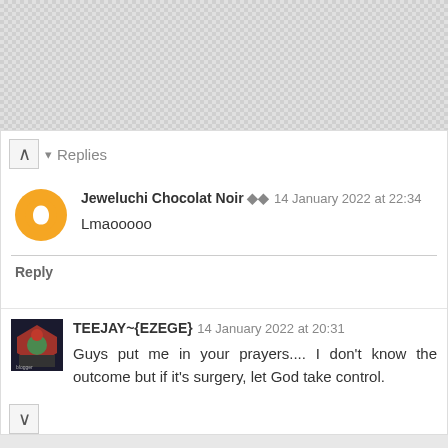Replies
Jeweluchi Chocolat Noir 14 January 2022 at 22:34
Lmaooooo
Reply
TEEJAY~{EZEGE} 14 January 2022 at 20:31
Guys put me in your prayers.... I don't know the outcome but if it's surgery, let God take control.